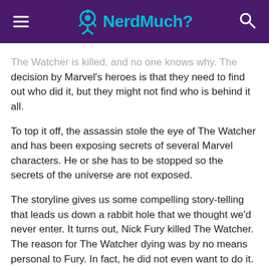NerdMuch?
The Watcher is killed, and no one knows why. The decision by Marvel's heroes is that they need to find out who did it, but they might not find who is behind it all.
To top it off, the assassin stole the eye of The Watcher and has been exposing secrets of several Marvel characters. He or she has to be stopped so the secrets of the universe are not exposed.
The storyline gives us some compelling story-telling that leads us down a rabbit hole that we thought we'd never enter. It turns out, Nick Fury killed The Watcher. The reason for The Watcher dying was by no means personal to Fury. In fact, he did not even want to do it. It seems The Watcher forced his hand. The reasons for why both men ended up even talking, and why The Watcher somehow wanted to die are clearly what makes